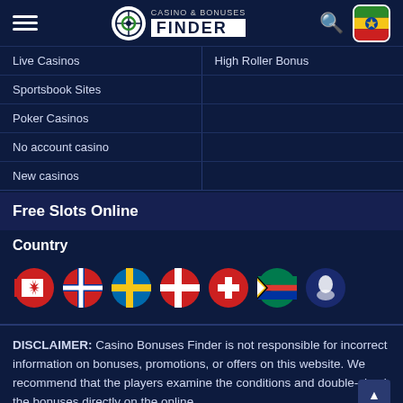Casino & Bonuses Finder — navigation header with hamburger menu, logo, search icon, and Ethiopia flag icon
Live Casinos
High Roller Bonus
Sportsbook Sites
Poker Casinos
No account casino
New casinos
Free Slots Online
Country
[Figure (illustration): Row of circular country flag icons: Canada, Norway, Sweden, Denmark, Switzerland, South Africa, and one more (possible Corsica/other)]
DISCLAIMER: Casino Bonuses Finder is not responsible for incorrect information on bonuses, promotions, or offers on this website. We recommend that the players examine the conditions and double-check the bonuses directly on the online